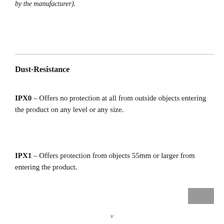by the manufacturer).
Dust-Resistance
IPX0 – Offers no protection at all from outside objects entering the product on any level or any size.
IPX1 – Offers protection from objects 55mm or larger from entering the product.
v